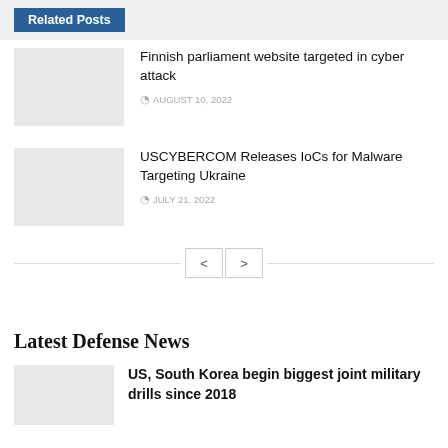Related Posts
Finnish parliament website targeted in cyber attack
AUGUST 10, 2022
USCYBERCOM Releases IoCs for Malware Targeting Ukraine
JULY 21, 2022
Latest Defense News
US, South Korea begin biggest joint military drills since 2018